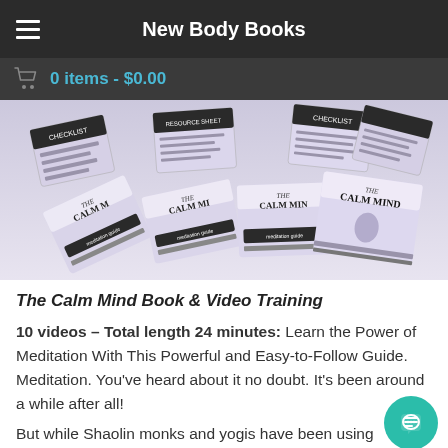New Body Books
0 items - $0.00
[Figure (photo): Product image showing multiple 'The Calm Mind' book covers fanned out, along with checklist cards, on a light lavender background.]
The Calm Mind Book & Video Training
10 videos – Total length 24 minutes: Learn the Power of Meditation With This Powerful and Easy-to-Follow Guide. Meditation. You've heard about it no doubt. It's been around a while after all!
But while Shaolin monks and yogis have been using